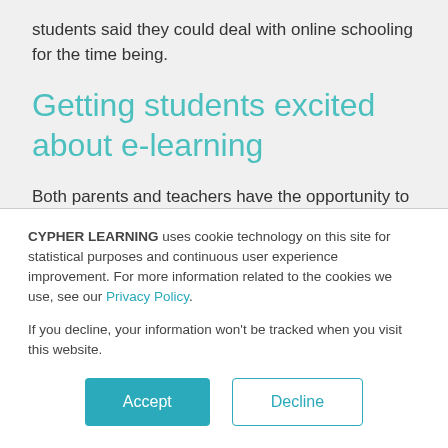students said they could deal with online schooling for the time being.
Getting students excited about e-learning
Both parents and teachers have the opportunity to get students really excited about e-learning this fall and beyond, helping to form the narrative. Hopefully,
CYPHER LEARNING uses cookie technology on this site for statistical purposes and continuous user experience improvement. For more information related to the cookies we use, see our Privacy Policy.
If you decline, your information won’t be tracked when you visit this website.